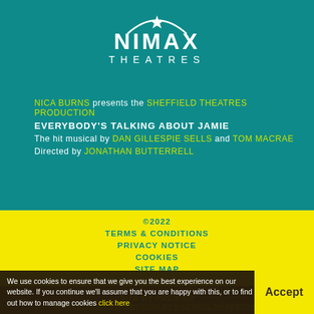[Figure (logo): Nimax Theatres logo: white text NIMAX THEATRES with a curved arc and star above]
NICA BURNS presents the SHEFFIELD THEATRES PRODUCTION EVERYBODY'S TALKING ABOUT JAMIE The hit musical by DAN GILLESPIE SELLS and TOM MACRAE Directed by JONATHAN BUTTERRELL
©2022
TERMS & CONDITIONS
PRIVACY NOTICE
COOKIES
SITE MAP
SITE BY PREMIER
MARKETING & ADVERTISING BY MAXWELL MARKETING
We use cookies to ensure that we give you the best experience on our website. If you continue we'll assume that you are happy with this, or to find out how to manage cookies click here